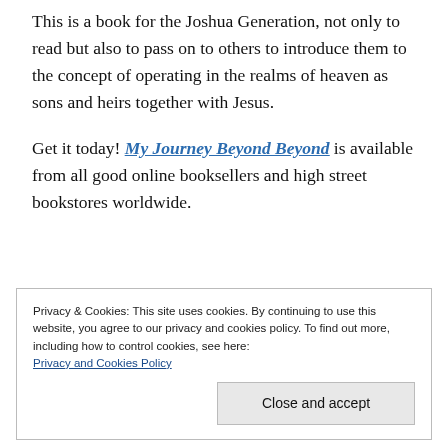This is a book for the Joshua Generation, not only to read but also to pass on to others to introduce them to the concept of operating in the realms of heaven as sons and heirs together with Jesus.
Get it today! My Journey Beyond Beyond is available from all good online booksellers and high street bookstores worldwide.
Privacy & Cookies: This site uses cookies. By continuing to use this website, you agree to our privacy and cookies policy. To find out more, including how to control cookies, see here: Privacy and Cookies Policy